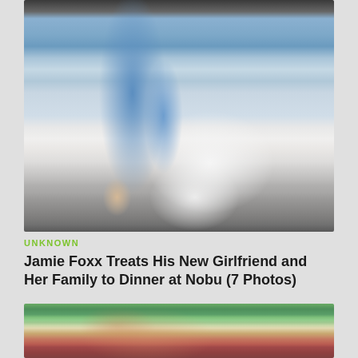[Figure (photo): Photo of a woman in blue ripped jeans and nude heels standing next to a white luxury car, shot from mid-body down]
UNKNOWN
Jamie Foxx Treats His New Girlfriend and Her Family to Dinner at Nobu (7 Photos)
[Figure (photo): Close-up photo of a woman with highlighted hair and colorful eye makeup outdoors with green foliage in background]